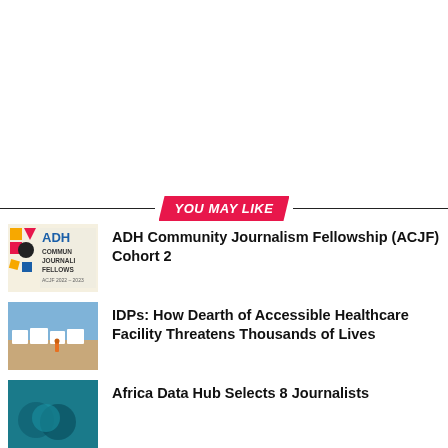YOU MAY LIKE
[Figure (photo): ADH Community Journalism Fellowship logo thumbnail with ACJF 2022-2023 text and colorful geometric shapes]
ADH Community Journalism Fellowship (ACJF) Cohort 2
[Figure (photo): Photo of an IDP camp with white tents and a person in orange, sandy ground and blue sky]
IDPs: How Dearth of Accessible Healthcare Facility Threatens Thousands of Lives
[Figure (photo): Thumbnail image with teal/dark teal background showing circular shapes]
Africa Data Hub Selects 8 Journalists